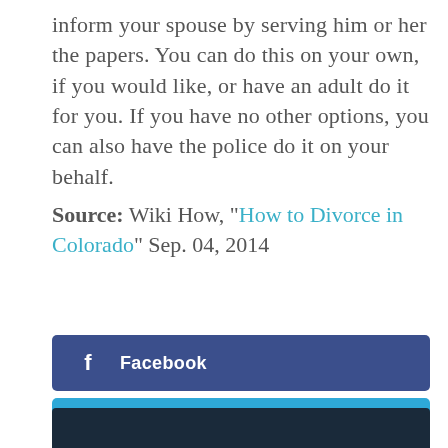inform your spouse by serving him or her the papers. You can do this on your own, if you would like, or have an adult do it for you. If you have no other options, you can also have the police do it on your behalf.
Source: Wiki How, "How to Divorce in Colorado" Sep. 04, 2014
[Figure (infographic): Social media share buttons: Facebook (dark blue), Twitter (light blue), LinkedIn (teal blue)]
[Figure (other): Dark navy bar at bottom of page]